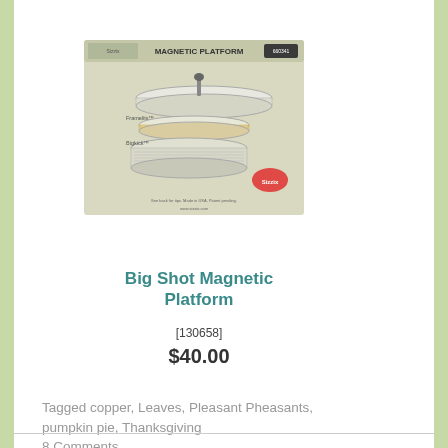[Figure (photo): Product packaging image of Big Shot Magnetic Platform showing layered magnetic sheets diagram]
Big Shot Magnetic Platform
[130658]
$40.00
Tagged copper, Leaves, Pleasant Pheasants, pumpkin pie, Thanksgiving
8 Comments